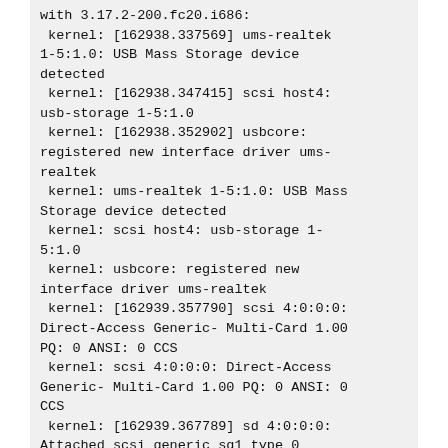with 3.17.2-200.fc20.i686:
 kernel: [162938.337569] ums-realtek 1-5:1.0: USB Mass Storage device detected
 kernel: [162938.347415] scsi host4: usb-storage 1-5:1.0
 kernel: [162938.352902] usbcore: registered new interface driver ums-realtek
 kernel: ums-realtek 1-5:1.0: USB Mass Storage device detected
 kernel: scsi host4: usb-storage 1-5:1.0
 kernel: usbcore: registered new interface driver ums-realtek
 kernel: [162939.357790] scsi 4:0:0:0: Direct-Access Generic- Multi-Card 1.00 PQ: 0 ANSI: 0 CCS
 kernel: scsi 4:0:0:0: Direct-Access Generic- Multi-Card 1.00 PQ: 0 ANSI: 0 CCS
 kernel: [162939.367789] sd 4:0:0:0: Attached scsi generic sg1 type 0
 kernel: [162939.377269] sd 4:0:0:0: [sdb] Attached SCSI removable disk